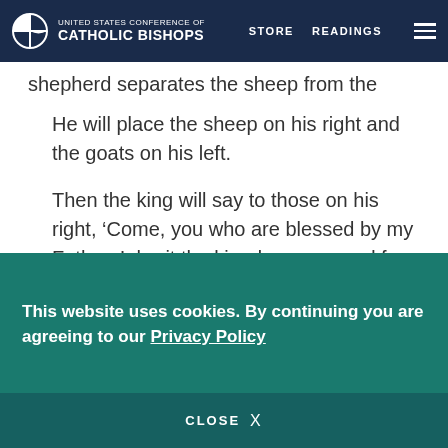UNITED STATES CONFERENCE OF CATHOLIC BISHOPS | STORE | READINGS
shepherd separates the sheep from the goats.
He will place the sheep on his right and the goats on his left.
Then the king will say to those on his right, ‘Come, you who are blessed by my Father. Inherit the kingdom prepared for you from the foundation of the world.
ʰ For I was hungry and you gave me food, I was
This website uses cookies. By continuing you are agreeing to our Privacy Policy
CLOSE X